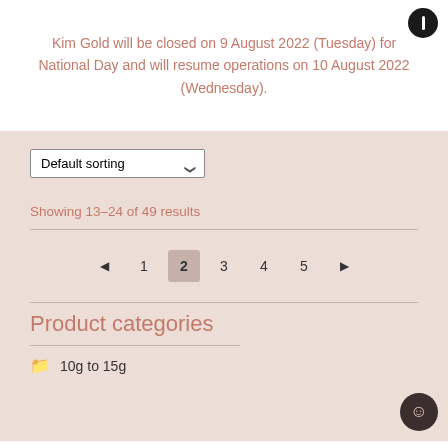Kim Gold will be closed on 9 August 2022 (Tuesday) for National Day and will resume operations on 10 August 2022 (Wednesday).
Default sorting
Showing 13–24 of 49 results
◄ 1 2 3 4 5 ►
Product categories
10g to 15g